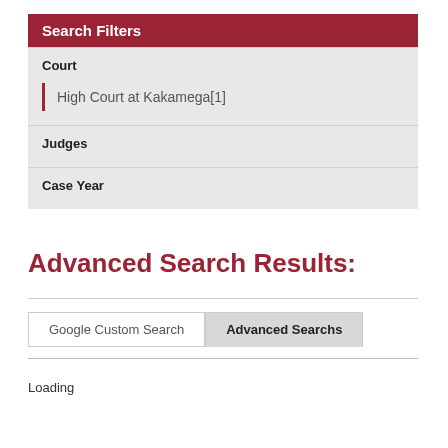Search Filters
Court
High Court at Kakamega[1]
Judges
Case Year
Advanced Search Results:
Google Custom Search
Advanced Searchs
Loading